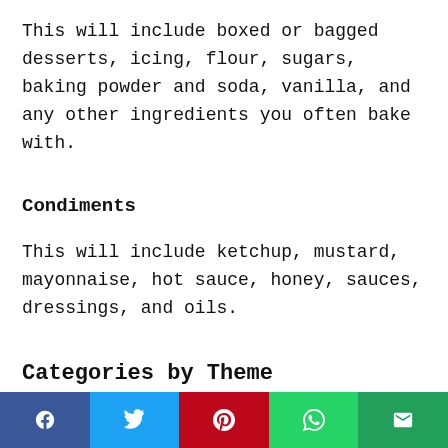This will include boxed or bagged desserts, icing, flour, sugars, baking powder and soda, vanilla, and any other ingredients you often bake with.
Condiments
This will include ketchup, mustard, mayonnaise, hot sauce, honey, sauces, dressings, and oils.
Categories by Theme
This is very similar to courses but a bit more based